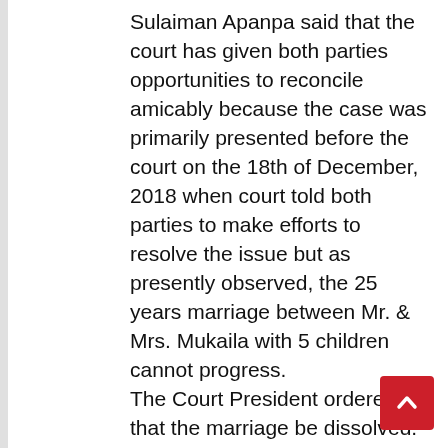Sulaiman Apanpa said that the court has given both parties opportunities to reconcile amicably because the case was primarily presented before the court on the 18th of December, 2018 when court told both parties to make efforts to resolve the issue but as presently observed, the 25 years marriage between Mr. & Mrs. Mukaila with 5 children cannot progress. The Court President ordered that the marriage be dissolved. In addition, he ordered that both parties should allow peace to reign and if any of the party comes to court in order to report the other party, the court will take required action to punish the defaulting party. The Court rejected Mr. Folorunsho Mukaila's plea for custody of the children but ordered that all children should be in custody of Mrs. Idowu